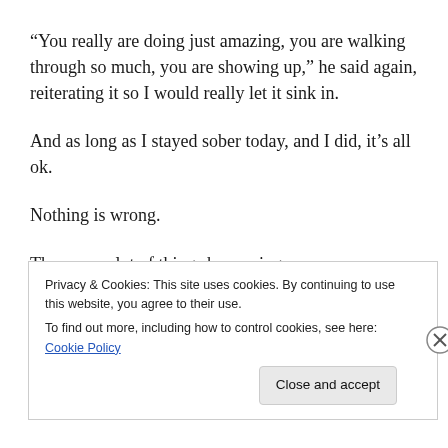“You really are doing just amazing, you are walking through so much, you are showing up,” he said again, reiterating it so I would really let it sink in.
And as long as I stayed sober today, and I did, it’s all ok.
Nothing is wrong.
There are a lot of things happening.
But as I have been told again and again, I’m not being given more than I can handle.
Privacy & Cookies: This site uses cookies. By continuing to use this website, you agree to their use.
To find out more, including how to control cookies, see here: Cookie Policy